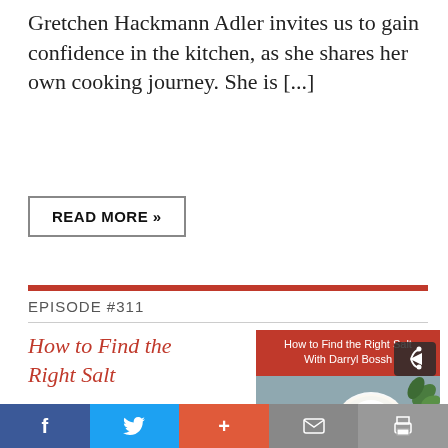Gretchen Hackmann Adler invites us to gain confidence in the kitchen, as she shares her own cooking journey. She is [...]
READ MORE »
EPISODE #311
How to Find the Right Salt
with Darryl Bosshardt
[Figure (photo): Podcast thumbnail image showing a bowl of salt with a wooden spoon and green leaves on a blue-grey background. Red header text reads 'How to Find the Right Salt With Darryl Bossh'. A red 'Wise Traditions' logo is in the lower left. A share icon appears in the upper right.]
Salt has had a bad rap for too long. And it's led to nausea,
f  Twitter  +  mail  print